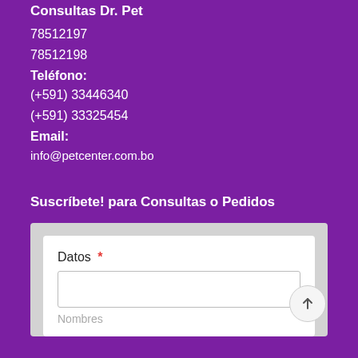Consultas Dr. Pet
78512197
78512198
Teléfono:
(+591) 33446340
(+591) 33325454
Email:
info@petcenter.com.bo
Suscríbete! para Consultas o Pedidos
Datos *
Nombres